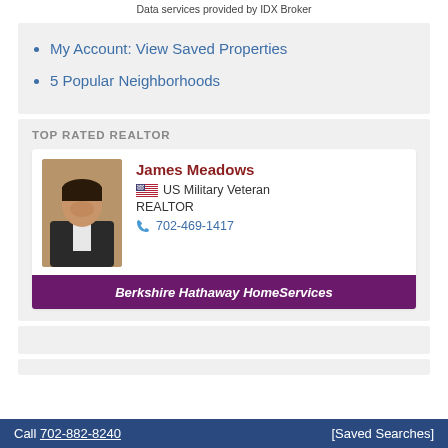Data services provided by IDX Broker
My Account: View Saved Properties
5 Popular Neighborhoods
TOP RATED REALTOR
James Meadows
US Military Veteran
REALTOR
702-469-1417
Berkshire Hathaway HomeServices
Call 702-882-8240  [Saved Searches]